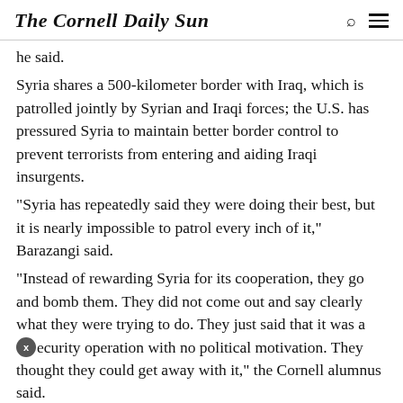The Cornell Daily Sun
he said.
Syria shares a 500-kilometer border with Iraq, which is patrolled jointly by Syrian and Iraqi forces; the U.S. has pressured Syria to maintain better border control to prevent terrorists from entering and aiding Iraqi insurgents.
“Syria has repeatedly said they were doing their best, but it is nearly impossible to patrol every inch of it,” Barazangi said.
“Instead of rewarding Syria for its cooperation, they go and bomb them. They did not come out and say clearly what they were trying to do. They just said that it was a security operation with no political motivation. They thought they could get away with it,” the Cornell alumnus said.
According to Barazangi, the situation was wrongly compared to the Pakistan-Afghanistan border breaches.